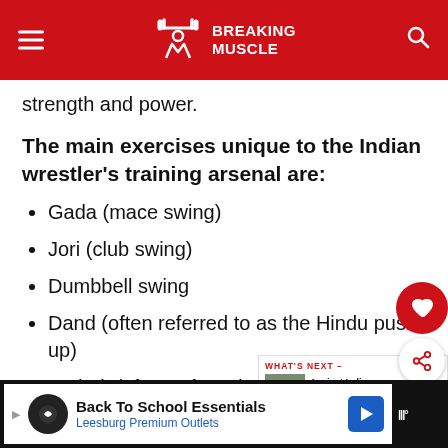Breaking Muscle
strength and power.
The main exercises unique to the Indian wrestler's training arsenal are:
Gada (mace swing)
Jori (club swing)
Dumbbell swing
Dand (often referred to as the Hindu push up)
Bethak (often referred to as the Hindu squat)
ADVERTISEMENT | Back To School Essentials | Leesburg Premium Outlets